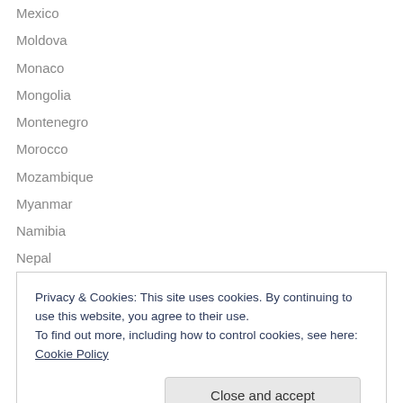Mexico
Moldova
Monaco
Mongolia
Montenegro
Morocco
Mozambique
Myanmar
Namibia
Nepal
Netherlands
New Zealand
Nicaragua
Privacy & Cookies: This site uses cookies. By continuing to use this website, you agree to their use. To find out more, including how to control cookies, see here: Cookie Policy
Pakistan